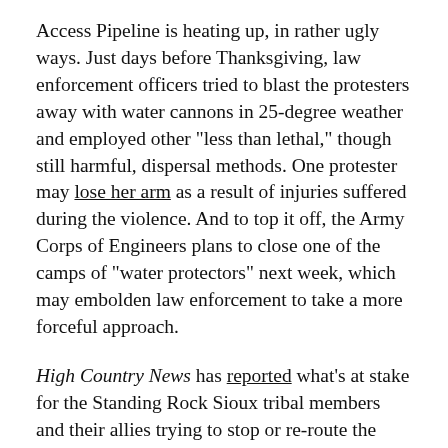Access Pipeline is heating up, in rather ugly ways. Just days before Thanksgiving, law enforcement officers tried to blast the protesters away with water cannons in 25-degree weather and employed other "less than lethal," though still harmful, dispersal methods. One protester may lose her arm as a result of injuries suffered during the violence. And to top it off, the Army Corps of Engineers plans to close one of the camps of "water protectors" next week, which may embolden law enforcement to take a more forceful approach.
High Country News has reported what's at stake for the Standing Rock Sioux tribal members and their allies trying to stop or re-route the project: Tribal sovereignty, water, environmental justice, holy lands, treaty-rights and antiquities. Add to that the prospect of more carbon spewing into the atmosphere, and one can see why activists are risking so much to stand in the pipeline's